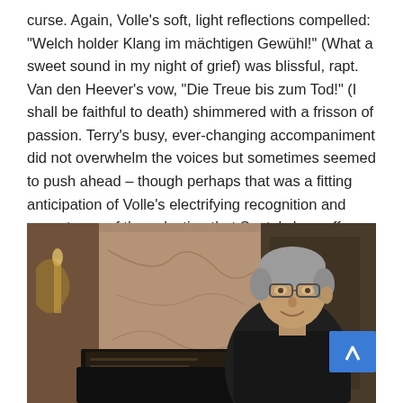curse. Again, Volle's soft, light reflections compelled: "Welch holder Klang im mächtigen Gewühl!" (What a sweet sound in my night of grief) was blissful, rapt. Van den Heever's vow, "Die Treue bis zum Tod!" (I shall be faithful to death) shimmered with a frisson of passion. Terry's busy, ever-changing accompaniment did not overwhelm the voices but sometimes seemed to push ahead – though perhaps that was a fitting anticipation of Volle's electrifying recognition and acceptance of the salvation that Senta's love offers.
[Figure (photo): A man with gray hair and glasses, wearing a dark jacket, seated at a piano with sheet music on the stand. The background shows an ornate interior with marble-like walls and warm lighting.]